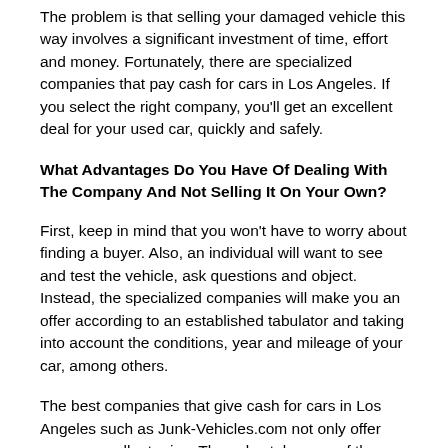The problem is that selling your damaged vehicle this way involves a significant investment of time, effort and money. Fortunately, there are specialized companies that pay cash for cars in Los Angeles. If you select the right company, you'll get an excellent deal for your used car, quickly and safely.
What Advantages Do You Have Of Dealing With The Company And Not Selling It On Your Own?
First, keep in mind that you won't have to worry about finding a buyer. Also, an individual will want to see and test the vehicle, ask questions and object. Instead, the specialized companies will make you an offer according to an established tabulator and taking into account the conditions, year and mileage of your car, among others.
The best companies that give cash for cars in Los Angeles such as Junk-Vehicles.com not only offer you an excellent price. They also take care of the pick-up & towing of your vehicle wherever it is. This service is completely free (at least with us).